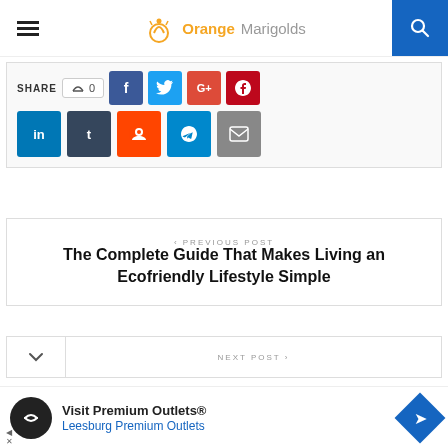Orange Marigolds
[Figure (screenshot): Social share bar with SHARE label, like button, Facebook, Twitter, Google+, Pinterest, LinkedIn, Tumblr, Reddit, Telegram, Email buttons]
< PREVIOUS POST
The Complete Guide That Makes Living an Ecofriendly Lifestyle Simple
NEXT POST >
[Figure (infographic): Advertisement banner: Visit Premium Outlets® - Leesburg Premium Outlets]